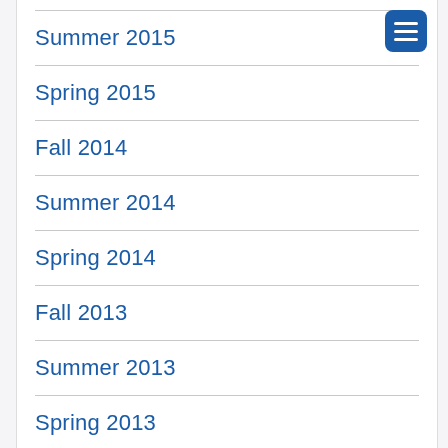Summer 2015
Spring 2015
Fall 2014
Summer 2014
Spring 2014
Fall 2013
Summer 2013
Spring 2013